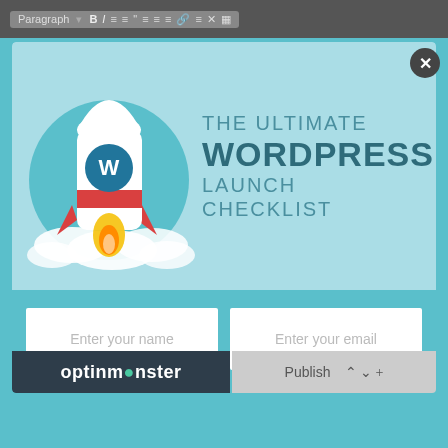[Figure (screenshot): WordPress editor toolbar with formatting buttons (Paragraph, B, I, list, quote, align, link icons) on dark grey background]
[Figure (illustration): WordPress launch checklist promotional popup. Light teal banner with rocket ship illustration (white rocket with WordPress logo, red fins, yellow flame, cloud puffs on teal circle background). Text reads: THE ULTIMATE WORDPRESS LAUNCH CHECKLIST. Below: form fields 'Enter your name', 'Enter your email', red 'Download Now' button. OptinMonster logo bottom left.]
Enter your name
Enter your email
Download Now
optinmonster
Publish